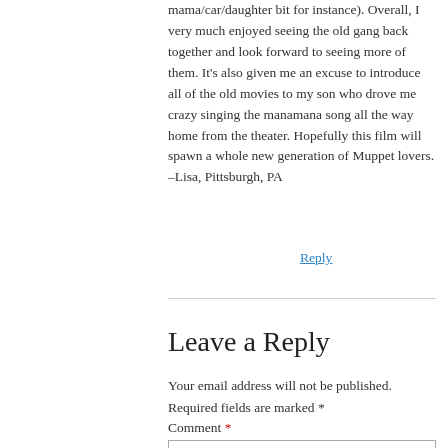mama/car/daughter bit for instance). Overall, I very much enjoyed seeing the old gang back together and look forward to seeing more of them. It's also given me an excuse to introduce all of the old movies to my son who drove me crazy singing the manamana song all the way home from the theater. Hopefully this film will spawn a whole new generation of Muppet lovers.
-Lisa, Pittsburgh, PA
Reply
Leave a Reply
Your email address will not be published. Required fields are marked *
Comment *